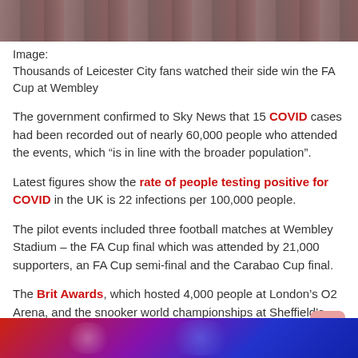[Figure (photo): Top partial image of Leicester City fans or football players at Wembley, showing legs/feet in maroon uniforms near a goal net]
Image:
Thousands of Leicester City fans watched their side win the FA Cup at Wembley
The government confirmed to Sky News that 15 COVID cases had been recorded out of nearly 60,000 people who attended the events, which “is in line with the broader population”.
Latest figures show the rate of people testing positive for COVID in the UK is 22 infections per 100,000 people.
The pilot events included three football matches at Wembley Stadium – the FA Cup final which was attended by 21,000 supporters, an FA Cup semi-final and the Carabao Cup final.
The Brit Awards, which hosted 4,000 people at London’s O2 Arena, and the snooker world championships at Sheffield’s Crucible Theatre were also involved.
[Figure (photo): Bottom partial image showing blue and red abstract/fireworks background]